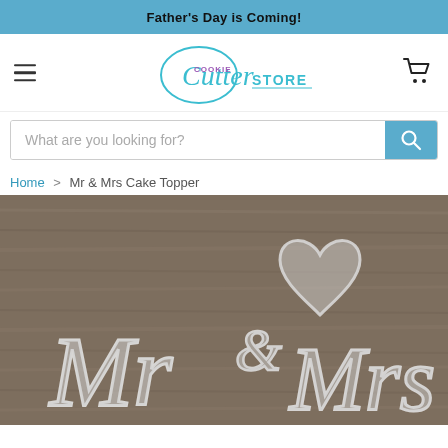Father's Day is Coming!
[Figure (logo): Cookie Cutter Store logo with teal cursive lettering and purple/teal text]
What are you looking for?
Home > Mr & Mrs Cake Topper
[Figure (photo): Silver metallic Mr & Mrs cake topper on a wooden surface background]